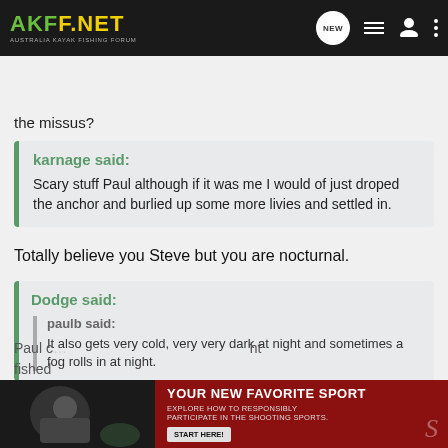AKFF.NET AUSTRALIA KAYAK FISHING FORUM
the missus?
karnage said: Scary stuff Paul although if it was me I would of just droped the anchor and burlied up some more livies and settled in.
Totally believe you Steve but you are nocturnal.
Dodge said: paulb said: It also gets very cold, very very dark at night and sometimes a fog rolls in at night.
Paul c... ht fished
[Figure (screenshot): Advertisement banner: YOUR NEW FAVORITE SPORT - EXPLORE HOW TO RESPONSIBLY PARTICIPATE IN THE SHOOTING SPORTS. START HERE!]